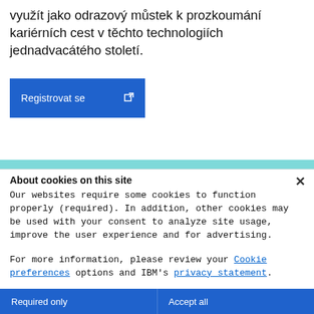využít jako odrazový můstek k prozkoumání kariérních cest v těchto technologiích jednadvacátého století.
[Figure (screenshot): Blue 'Registrovat se' button with external link icon]
[Figure (screenshot): Teal/cyan horizontal bar divider]
About cookies on this site
Our websites require some cookies to function properly (required). In addition, other cookies may be used with your consent to analyze site usage, improve the user experience and for advertising.

For more information, please review your Cookie preferences options and IBM's privacy statement.
Required only | Accept all